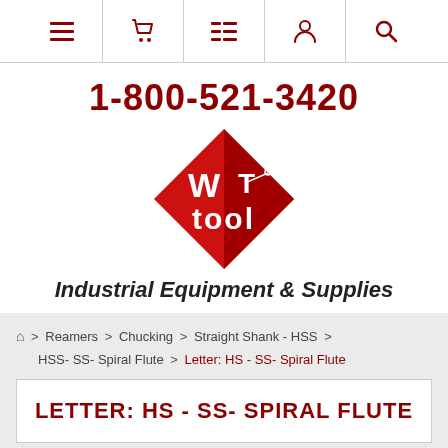[Figure (other): Navigation bar with hamburger menu, cart, list, user, and search icons]
1-800-521-3420
[Figure (logo): WT Tool diamond-shaped red logo with tools illustration]
Industrial Equipment & Supplies
Home > Reamers > Chucking > Straight Shank - HSS > HSS- SS- Spiral Flute > Letter: HS - SS- Spiral Flute
LETTER: HS - SS- SPIRAL FLUTE